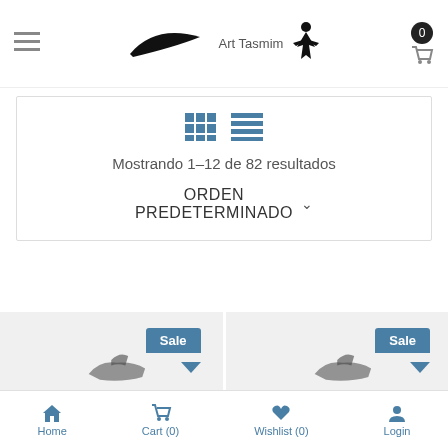[Figure (logo): Nike swoosh logo and Jordan jumpman logo with text 'Art Tasmim' in the center header area]
Mostrando 1–12 de 82 resultados
ORDEN PREDETERMINADO
[Figure (photo): Two product cards side by side, each showing sneaker images partially visible, both with 'Sale' badge tags in blue]
Home   Cart (0)   Wishlist (0)   Login